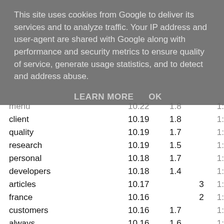This site uses cookies from Google to deliver its services and to analyze traffic. Your IP address and user-agent are shared with Google along with performance and security metrics to ensure quality of service, generate usage statistics, and to detect and address abuse.
LEARN MORE    OK
|  |  |  |  |  |
| --- | --- | --- | --- | --- |
| menu | 10.22 | 1.8 |  | 1: |
| client | 10.19 | 1.8 |  | 1: |
| quality | 10.19 | 1.7 |  | 1: |
| research | 10.19 | 1.5 |  | 1: |
| personal | 10.18 | 1.7 |  | 1: |
| developers | 10.18 | 1.4 |  | 1: |
| articles | 10.17 |  | 3 | 1: |
| france | 10.16 |  | 2 | 1: |
| customers | 10.16 | 1.7 |  | 1: |
| always | 10.16 | 1.6 |  | 1: |
| experience | 10.16 | 1.5 |  | 1: |
| photos | 10.16 | 1.3 |  | 1: |
| required | 10.15 | 1.4 |  | 1: |
| keep | 10.15 | 1.4 |  | 1: |
| previous | 10.15 | 1.3 |  | 1: |